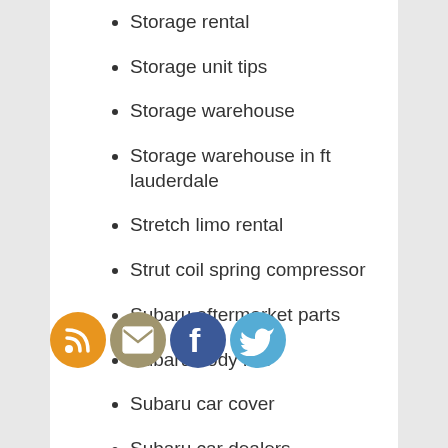Storage rental
Storage unit tips
Storage warehouse
Storage warehouse in ft lauderdale
Stretch limo rental
Strut coil spring compressor
Subaru aftermarket parts
Subaru body kits
Subaru car cover
Subaru car dealers
Subaru dealer rochester ny